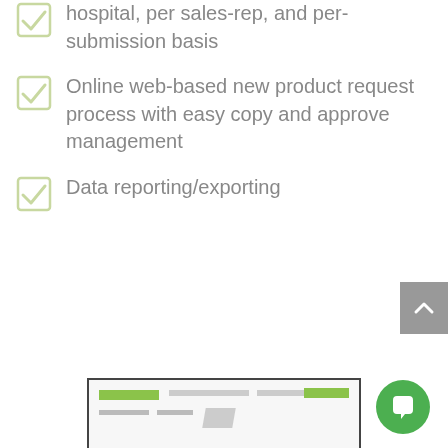hospital, per sales-rep, and per-submission basis
Online web-based new product request process with easy copy and approve management
Data reporting/exporting
[Figure (screenshot): Partial screenshot of a web UI with green buttons and grey lines at the bottom of the page]